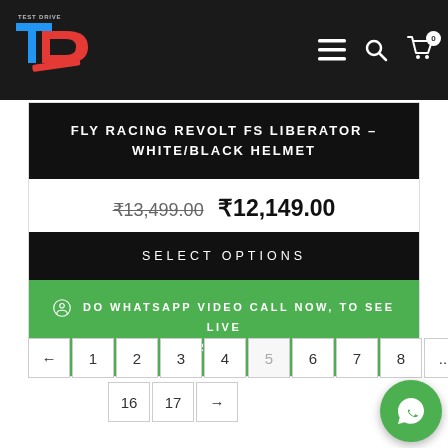[Figure (logo): Test Drive logo with TD letters in blue and red on dark header bar]
FLY RACING REVOLT FS LIBERATOR – WHITE/BLACK HELMET
₹13,499.00 ₹12,149.00
SELECT OPTIONS
DO WHATSAPP VIDEO CALL NOW, TO SEE LIVE PRODUCT.
← 1 2 3 4 5 6 7 8 ... 15
16 17 →